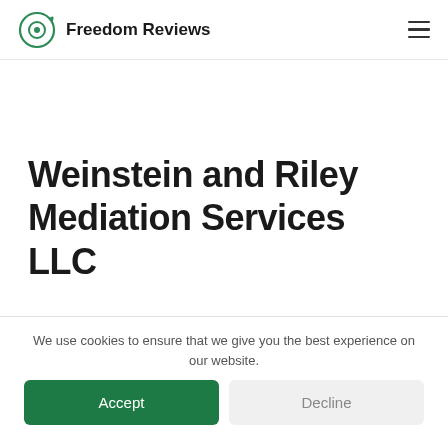Freedom Reviews
Weinstein and Riley Mediation Services LLC
We use cookies to ensure that we give you the best experience on our website.
Accept
Decline